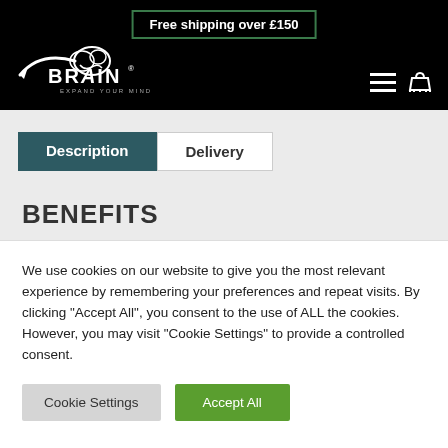Free shipping over £150
[Figure (logo): XBrain logo with brain graphic and tagline 'EXPAND YOUR MIND']
Description | Delivery
BENEFITS
We use cookies on our website to give you the most relevant experience by remembering your preferences and repeat visits. By clicking "Accept All", you consent to the use of ALL the cookies. However, you may visit "Cookie Settings" to provide a controlled consent.
Cookie Settings | Accept All